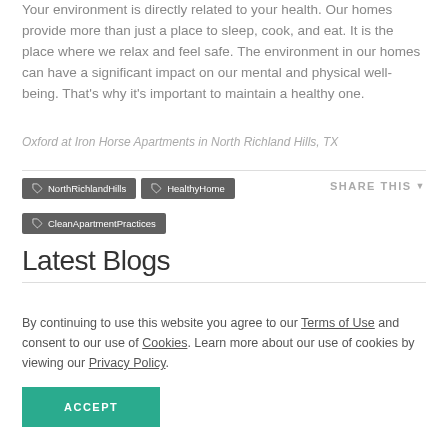Your environment is directly related to your health. Our homes provide more than just a place to sleep, cook, and eat. It is the place where we relax and feel safe. The environment in our homes can have a significant impact on our mental and physical well-being. That's why it's important to maintain a healthy one.
Oxford at Iron Horse Apartments in North Richland Hills, TX
#NorthRichlandHills
#HealthyHome
#CleanApartmentPractices
Latest Blogs
By continuing to use this website you agree to our Terms of Use and consent to our use of Cookies. Learn more about our use of cookies by viewing our Privacy Policy.